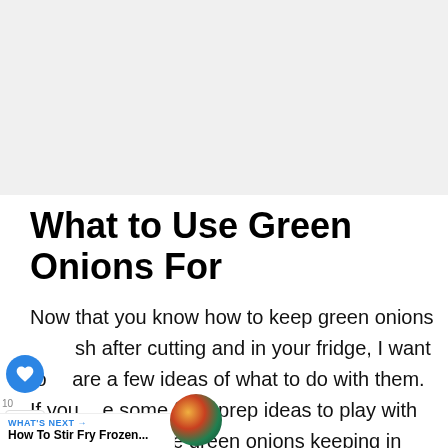[Figure (photo): Light gray placeholder image area at top of page]
What to Use Green Onions For
Now that you know how to keep green onions fresh after cutting and in your fridge, I want to share a few ideas of what to do with them. If you have some food prep ideas to play with and you will have green onions keeping in your fridge for weeks, you can make sure you have the right ingredients to make some of these dishes.